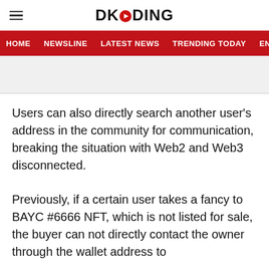DKODING
HOME  NEWSLINE  LATEST NEWS  TRENDING TODAY  ENT
Users can also directly search another user's address in the community for communication, breaking the situation with Web2 and Web3 disconnected.
Previously, if a certain user takes a fancy to BAYC #6666 NFT, which is not listed for sale, the buyer can not directly contact the owner through the wallet address to